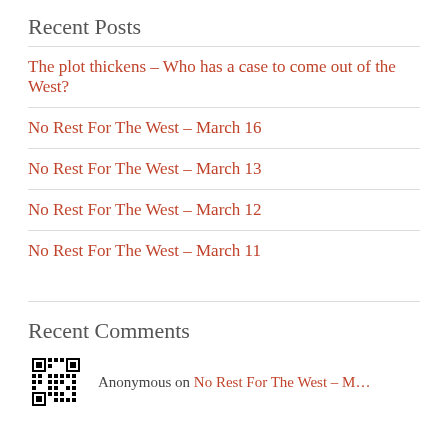Recent Posts
The plot thickens – Who has a case to come out of the West?
No Rest For The West – March 16
No Rest For The West – March 13
No Rest For The West – March 12
No Rest For The West – March 11
Recent Comments
Anonymous on No Rest For The West – M…